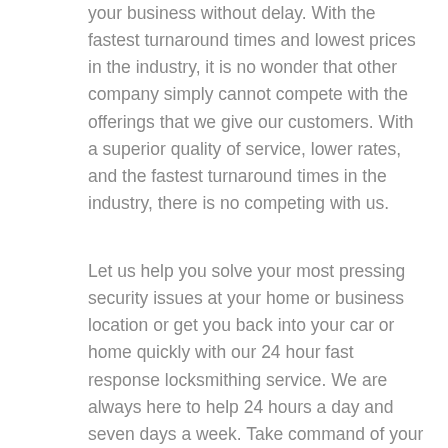your business without delay. With the fastest turnaround times and lowest prices in the industry, it is no wonder that other company simply cannot compete with the offerings that we give our customers. With a superior quality of service, lower rates, and the fastest turnaround times in the industry, there is no competing with us.
Let us help you solve your most pressing security issues at your home or business location or get you back into your car or home quickly with our 24 hour fast response locksmithing service. We are always here to help 24 hours a day and seven days a week. Take command of your situation and outsource the issue to the professionals. We never overcharge four nights, weekends, and holidays. We